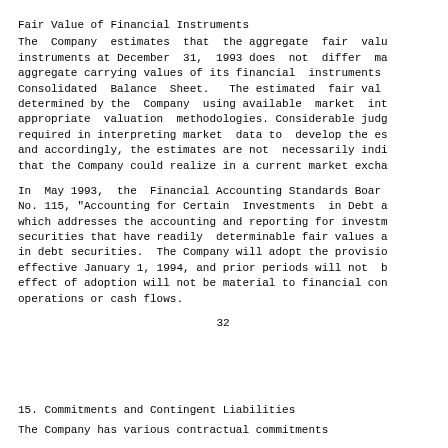Fair Value of Financial Instruments
The Company estimates that the aggregate fair value of its financial instruments at December 31, 1993 does not differ materially from the aggregate carrying values of its financial instruments included in the Consolidated Balance Sheet. The estimated fair values have been determined by the Company using available market information and appropriate valuation methodologies. Considerable judgment is required in interpreting market data to develop the estimates of fair value, and accordingly, the estimates are not necessarily indicative of the amounts that the Company could realize in a current market exchange.
In May 1993, the Financial Accounting Standards Board issued Statement No. 115, "Accounting for Certain Investments in Debt and Equity Securities," which addresses the accounting and reporting for investments in equity securities that have readily determinable fair values and for all investments in debt securities. The Company will adopt the provisions of this statement effective January 1, 1994, and prior periods will not be restated. The effect of adoption will not be material to financial condition, results of operations or cash flows.
32
15. Commitments and Contingent Liabilities
The Company has various contractual commitments...